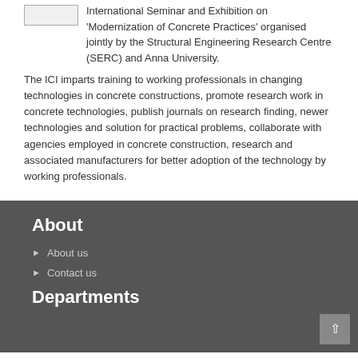International Seminar and Exhibition on 'Modernization of Concrete Practices' organised jointly by the Structural Engineering Research Centre (SERC) and Anna University.
The ICI imparts training to working professionals in changing technologies in concrete constructions, promote research work in concrete technologies, publish journals on research finding, newer technologies and solution for practical problems, collaborate with agencies employed in concrete construction, research and associated manufacturers for better adoption of the technology by working professionals.
About
About us
Contact us
Departments